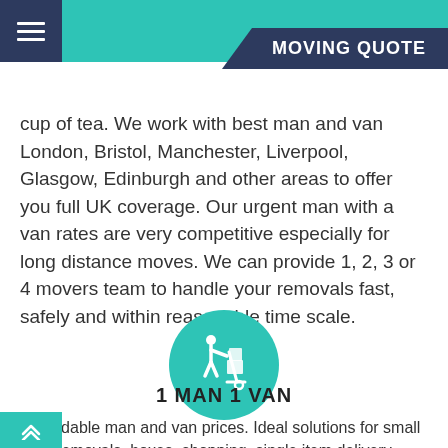MOVING QUOTE
cup of tea. We work with best man and van London, Bristol, Manchester, Liverpool, Glasgow, Edinburgh and other areas to offer you full UK coverage. Our urgent man with a van rates are very competitive especially for long distance moves. We can provide 1, 2, 3 or 4 movers team to handle your removals fast, safely and within reasonable time scale.
[Figure (illustration): Teal circle with white icon of a person pushing a hand truck/dolly with boxes]
1 MAN 1 VAN
Affordable man and van prices. Ideal solutions for small removals, boxes, shopping, single item delivery